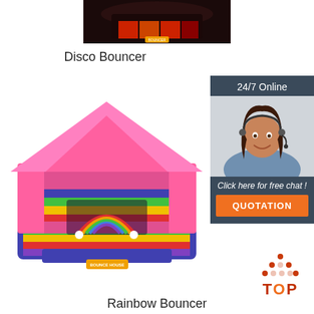[Figure (photo): Disco Bouncer inflatable product image, dark colored bouncy castle on white background]
Disco Bouncer
[Figure (infographic): 24/7 Online chat widget showing a woman with headset and buttons for free chat and quotation]
[Figure (photo): Rainbow Bouncer inflatable bouncy castle, pink with rainbow stripes on white background]
[Figure (illustration): TOP button icon with orange dots arranged in triangle above the word TOP in red/orange]
Rainbow Bouncer